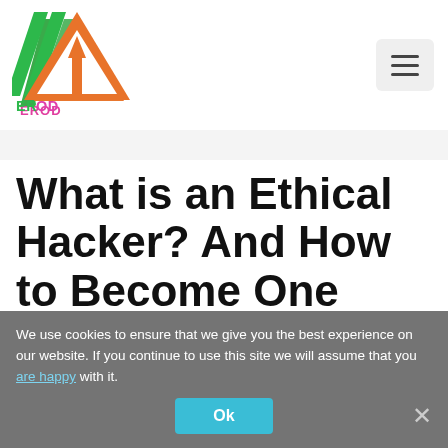[Figure (logo): ErodTech logo with triangle/arrow shape in orange and green, and colorful EROD TECH text below]
[Figure (other): Hamburger menu button (three horizontal lines) on light grey rounded rectangle background]
What is an Ethical Hacker? And How to Become One
June 15, 2022 by erodtechie
An ethical hacker, also known as a 'white hat
We use cookies to ensure that we give you the best experience on our website. If you continue to use this site we will assume that you are happy with it.